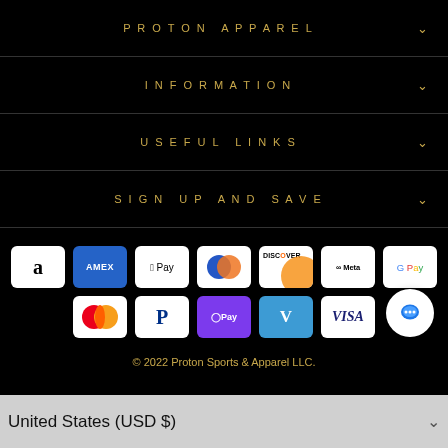PROTON APPAREL
INFORMATION
USEFUL LINKS
SIGN UP AND SAVE
[Figure (other): Payment method icons: Amazon, Amex, Apple Pay, Diners Club, Discover, Meta Pay, Google Pay, Mastercard, PayPal, OPay, Venmo, Visa]
© 2022 Proton Sports & Apparel LLC.
United States (USD $)